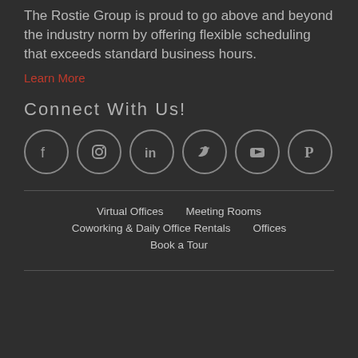The Rostie Group is proud to go above and beyond the industry norm by offering flexible scheduling that exceeds standard business hours.
Learn More
Connect With Us!
[Figure (illustration): Six circular social media icons: Facebook, Instagram, LinkedIn, Twitter, YouTube, Pinterest]
Virtual Offices   Meeting Rooms   Coworking & Daily Office Rentals   Offices   Book a Tour